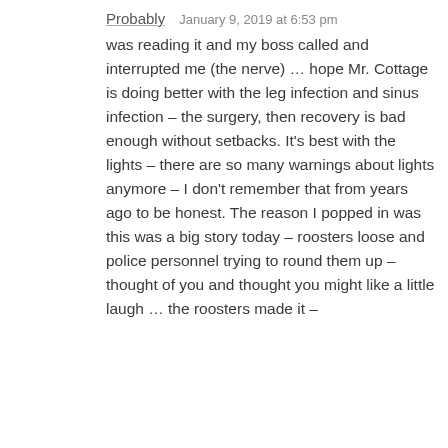Probably   January 9, 2019 at 6:53 pm
was reading it and my boss called and interrupted me (the nerve) … hope Mr. Cottage is doing better with the leg infection and sinus infection – the surgery, then recovery is bad enough without setbacks. It's best with the lights – there are so many warnings about lights anymore – I don't remember that from years ago to be honest. The reason I popped in was this was a big story today – roosters loose and police personnel trying to round them up – thought of you and thought you might like a little laugh … the roosters made it –